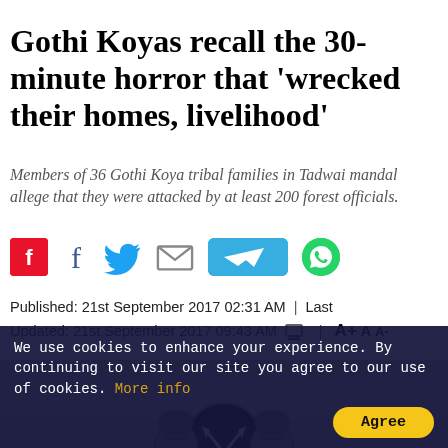Gothi Koyas recall the 30-minute horror that 'wrecked their homes, livelihood'
Members of 36 Gothi Koya tribal families in Tadwai mandal allege that they were attacked by at least 200 forest officials.
[Figure (infographic): Social sharing icons: Flipboard (red), Facebook (f), Twitter (bird), Email (envelope), Telegram (blue button with paper plane), WhatsApp (green circle with phone)]
Published: 21st September 2017 02:31 AM  |  Last Updated: 21st September 2017 09:43 AM  🖨  |  A+ A  A-
[Figure (logo): Karnataka government or news publication emblem: oval crest with two lions flanking crossed flags, decorative banner beneath]
We use cookies to enhance your experience. By continuing to visit our site you agree to our use of cookies. More info
Agree